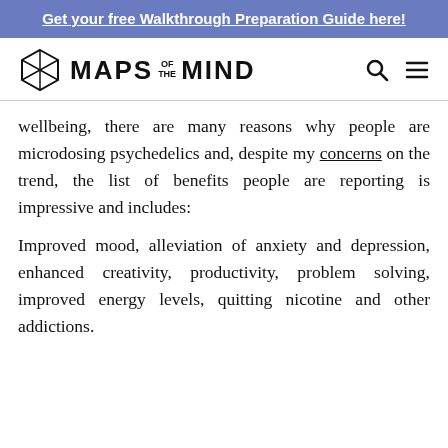Get your free Walkthrough Preparation Guide here!
[Figure (logo): Maps of the Mind logo with hexagonal icon and navigation icons (search, hamburger menu)]
wellbeing, there are many reasons why people are microdosing psychedelics and, despite my concerns on the trend, the list of benefits people are reporting is impressive and includes:
Improved mood, alleviation of anxiety and depression, enhanced creativity, productivity, problem solving, improved energy levels, quitting nicotine and other addictions.